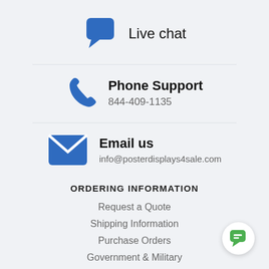[Figure (illustration): Blue chat bubble icon with Live chat text]
Live chat
[Figure (illustration): Blue phone/telephone icon]
Phone Support
844-409-1135
[Figure (illustration): Blue envelope/email icon]
Email us
info@posterdisplays4sale.com
ORDERING INFORMATION
Request a Quote
Shipping Information
Purchase Orders
Government & Military
[Figure (illustration): Green chat bubble icon badge in bottom right corner]